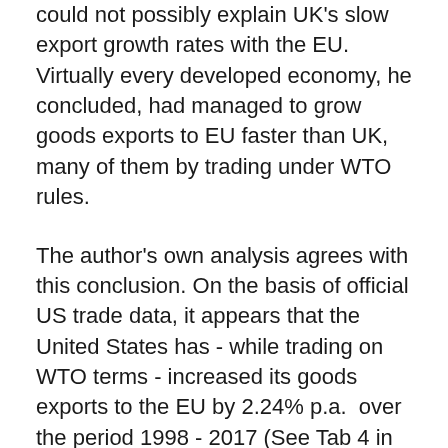could not possibly explain UK's slow export growth rates with the EU. Virtually every developed economy, he concluded, had managed to grow goods exports to EU faster than UK, many of them by trading under WTO rules.
The author's own analysis agrees with this conclusion. On the basis of official US trade data, it appears that the United States has - while trading on WTO terms - increased its goods exports to the EU by 2.24% p.a.  over the period 1998 - 2017 (See Tab 4 in UK Trade_Goods & Services). For all the vast political energy UK has expended on its EU membership since 1999 - plus the financial cost, however